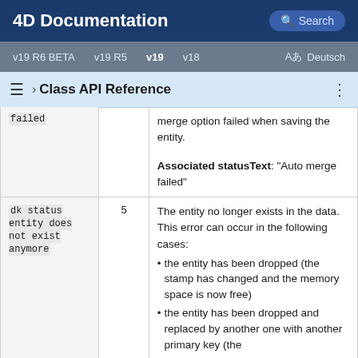4D Documentation
v19 R6 BETA  v19 R5  v19  v18  Aあ  Deutsch
› Class API Reference
| Name | Value | Description |
| --- | --- | --- |
| failed |  | merge option failed when saving the entity.

Associated statusText: "Auto merge failed" |
| dk status entity does not exist anymore | 5 | The entity no longer exists in the data. This error can occur in the following cases:
• the entity has been dropped (the stamp has changed and the memory space is now free)
• the entity has been dropped and replaced by another one with another primary key (the |